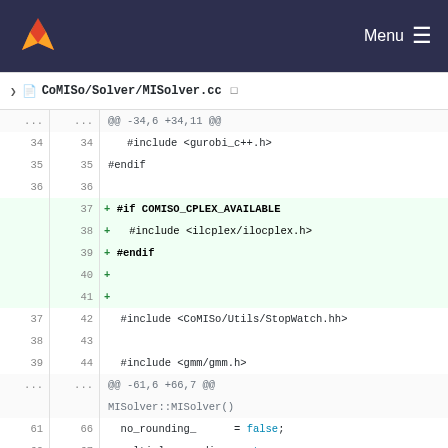CoMISo/Solver/MISolver.cc
[Figure (screenshot): Git diff view showing changes to CoMISo/Solver/MISolver.cc, adding COMISO_CPLEX_AVAILABLE include guard and cplex_rounding_ initialization]
@@ -34,6 +34,11 @@
34 34    #include <gurobi_c++.h>
35 35  #endif
36 36
   37 + #if COMISO_CPLEX_AVAILABLE
   38 +   #include <ilcplex/ilocplex.h>
   39 + #endif
   40 +
   41 +
37 42    #include <CoMISo/Utils/StopWatch.hh>
38 43
39 44    #include <gmm/gmm.h>
@@ -61,6 +66,7 @@
   MISolver::MISolver()
61 66    no_rounding_     = false;
62 67    multiple_rounding_ = true;
63 68    gurobi_rounding_  = false;
   69 + cplex_rounding_   = false;
64 70